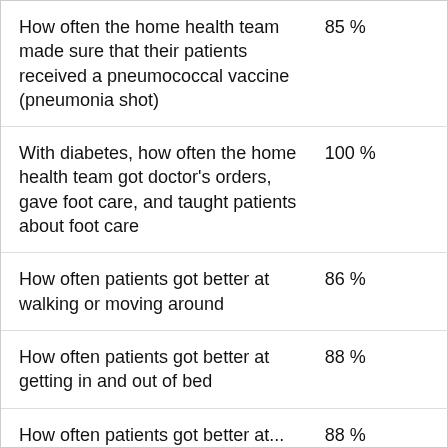| Measure | Value |
| --- | --- |
| How often the home health team made sure that their patients received a pneumococcal vaccine (pneumonia shot) | 85 % |
| With diabetes, how often the home health team got doctor's orders, gave foot care, and taught patients about foot care | 100 % |
| How often patients got better at walking or moving around | 86 % |
| How often patients got better at getting in and out of bed | 88 % |
| How often patients got better at... | 88 % |